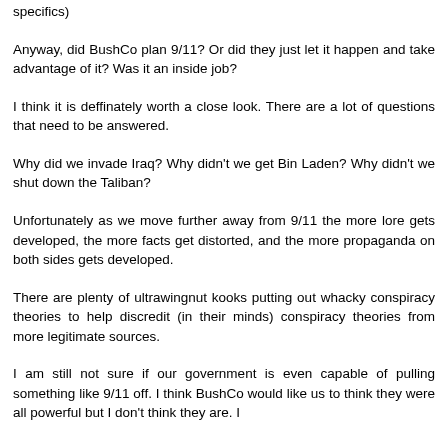specifics)
Anyway, did BushCo plan 9/11? Or did they just let it happen and take advantage of it? Was it an inside job?
I think it is deffinately worth a close look. There are a lot of questions that need to be answered.
Why did we invade Iraq? Why didn't we get Bin Laden? Why didn't we shut down the Taliban?
Unfortunately as we move further away from 9/11 the more lore gets developed, the more facts get distorted, and the more propaganda on both sides gets developed.
There are plenty of ultrawingnut kooks putting out whacky conspiracy theories to help discredit (in their minds) conspiracy theories from more legitimate sources.
I am still not sure if our government is even capable of pulling something like 9/11 off. I think BushCo would like us to think they were all powerful but I don't think they are. I